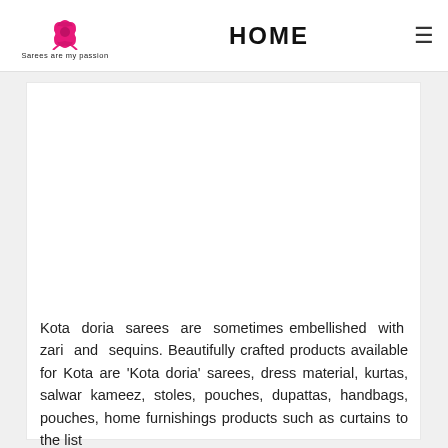HOME | Sarees are my passion
[Figure (illustration): White rectangular content area (image placeholder)]
Kota doria sarees are sometimes embellished with zari and sequins. Beautifully crafted products available for Kota are 'Kota doria' sarees, dress material, kurtas, salwar kameez, stoles, pouches, dupattas, handbags, pouches, home furnishings products such as curtains to the list...